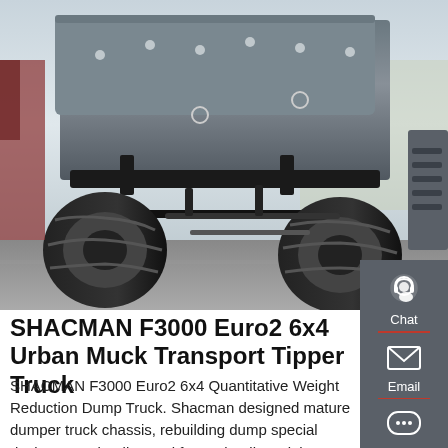[Figure (photo): Underside view of a SHACMAN F3000 dump truck showing the chassis, axles, large tires, and underbody components from a low angle perspective on a road.]
SHACMAN F3000 Euro2 6x4 Urban Muck Transport Tipper Truck
SHACMAN F3000 Euro2 6x4 Quantitative Weight Reduction Dump Truck. Shacman designed mature dumper truck chassis, rebuilding dump special device, easy loading and fast unloading.High efficiency, low cost, new technique, low fuel consumption, enduring